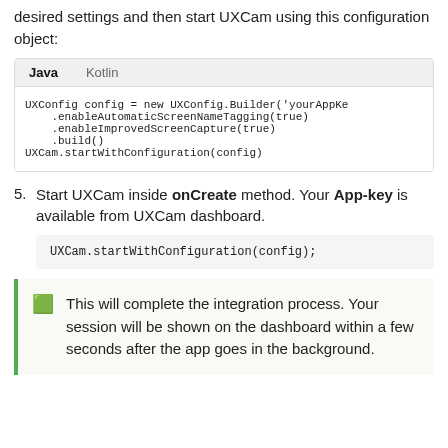desired settings and then start UXCam using this configuration object:
Java  Kotlin
UXConfig config = new UXConfig.Builder('yourAppKe
    .enableAutomaticScreenNameTagging(true)
    .enableImprovedScreenCapture(true)
    .build()
UXCam.startWithConfiguration(config)
5. Start UXCam inside onCreate method. Your App-key is available from UXCam dashboard.
UXCam.startWithConfiguration(config);
This will complete the integration process. Your session will be shown on the dashboard within a few seconds after the app goes in the background.